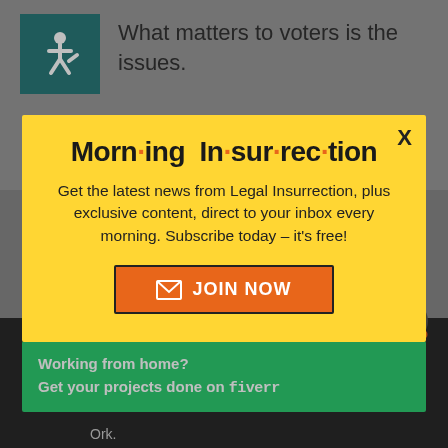What matters to voters is the issues.
[Figure (screenshot): Modal popup with yellow background titled 'Morning Insurrection' newsletter signup with orange JOIN NOW button]
Working from home? Get your projects done on fiverr
Ork.